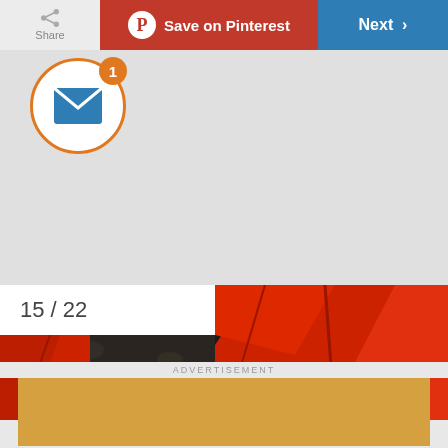[Figure (screenshot): Mobile app UI screenshot showing Share button, Save on Pinterest button (red), Next button (blue), notification icon with badge showing '1', slideshow image of red plastic tray at 15/22, and advertisement banner for eXmark DIY Backyard Projects]
15 / 22
ADVERTISEMENT